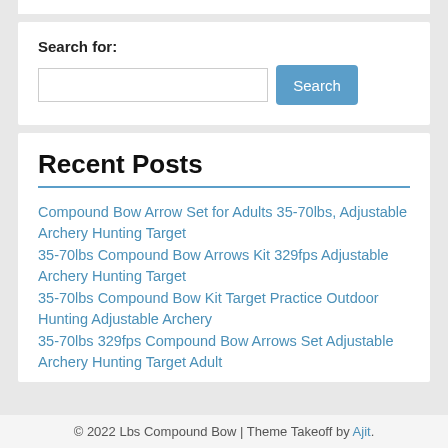Search for:
Search
Recent Posts
Compound Bow Arrow Set for Adults 35-70lbs, Adjustable Archery Hunting Target
35-70lbs Compound Bow Arrows Kit 329fps Adjustable Archery Hunting Target
35-70lbs Compound Bow Kit Target Practice Outdoor Hunting Adjustable Archery
35-70lbs 329fps Compound Bow Arrows Set Adjustable Archery Hunting Target Adult
© 2022 Lbs Compound Bow | Theme Takeoff by Ajit.